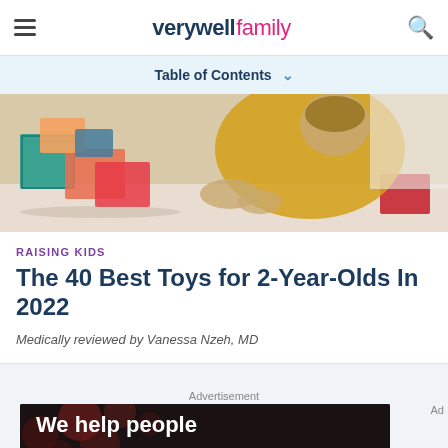verywell family
Table of Contents
[Figure (photo): Young toddler in a yellow sweater playing with colorful magnetic building blocks on a white surface]
RAISING KIDS
The 40 Best Toys for 2-Year-Olds In 2022
Medically reviewed by Vanessa Nzeh, MD
Advertisement
[Figure (photo): Advertisement banner: 'We help people' with Dotdash Meredith branding on dark background with red bokeh dots]